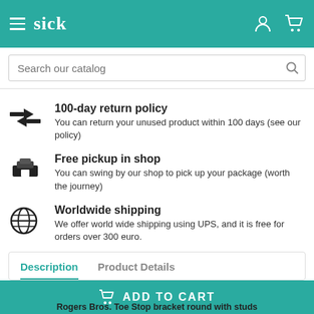sick (logo), hamburger menu, user icon, cart icon
Search our catalog
100-day return policy — You can return your unused product within 100 days (see our policy)
Free pickup in shop — You can swing by our shop to pick up your package (worth the journey)
Worldwide shipping — We offer world wide shipping using UPS, and it is free for orders over 300 euro.
Description | Product Details
ADD TO CART
Rogers Bros. Toe Stop bracket round with studs